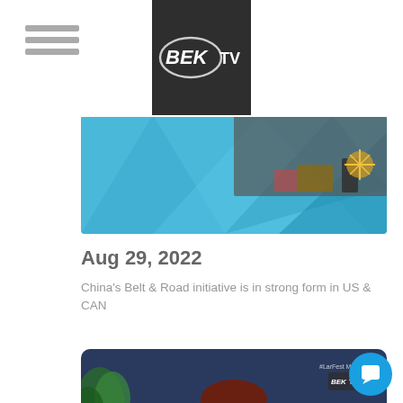BEK TV
[Figure (screenshot): TV broadcast still showing a decorative set with blue geometric background and items on a table]
Aug 29, 2022
China's Belt & Road initiative is in strong form in US & CAN
[Figure (screenshot): Interview still showing a woman with red-brown hair holding a book titled 'Who Would MONICA Do?' sitting in a studio with a plant and dark blue background. BEK TV watermark visible.]